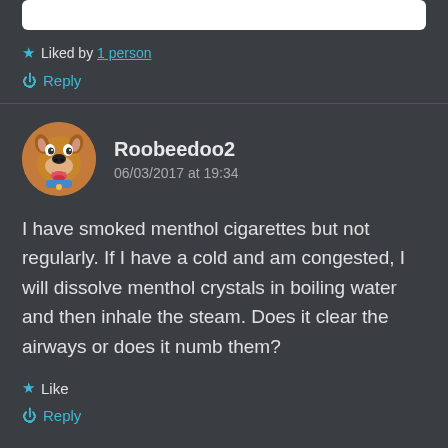★ Liked by 1 person
⏻ Reply
Roobeedoo2
06/03/2017 at 19:34
I have smoked menthol cigarettes but not regularly. If I have a cold and am congested, I will dissolve menthol crystals in boiling water and then inhale the steam. Does it clear the airways or does it numb them?
★ Like
⏻ Reply